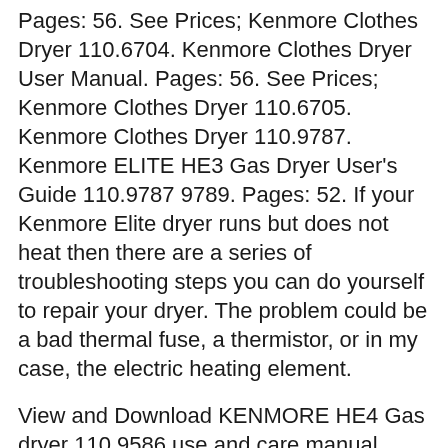Pages: 56. See Prices; Kenmore Clothes Dryer 110.6704. Kenmore Clothes Dryer User Manual. Pages: 56. See Prices; Kenmore Clothes Dryer 110.6705. Kenmore Clothes Dryer 110.9787. Kenmore ELITE HE3 Gas Dryer User's Guide 110.9787 9789. Pages: 52. If your Kenmore Elite dryer runs but does not heat then there are a series of troubleshooting steps you can do yourself to repair your dryer. The problem could be a bad thermal fuse, a thermistor, or in my case, the electric heating element.
View and Download KENMORE HE4 Gas dryer 110.9586 use and care manual online. HE4 Gas Dryer. HE4 Gas dryer